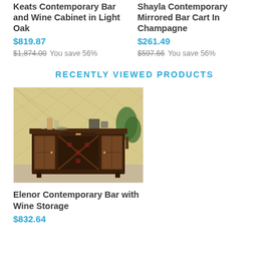Keats Contemporary Bar and Wine Cabinet in Light Oak
$819.87
$1,874.00 You save 56%
Shayla Contemporary Mirrored Bar Cart In Champagne
$261.49
$597.66 You save 56%
RECENTLY VIEWED PRODUCTS
[Figure (photo): Dark espresso bar cabinet with wine storage, glass doors, and decorative items on top, set against a diamond-patterned wall.]
Elenor Contemporary Bar with Wine Storage
$832.64